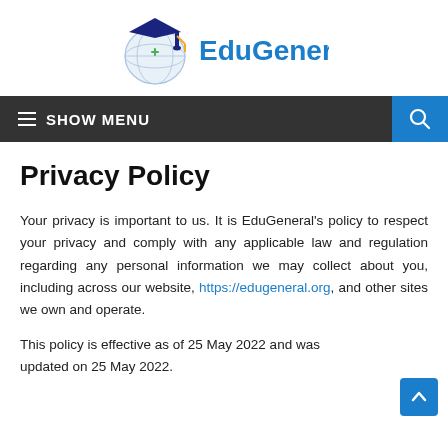[Figure (logo): EduGeneral logo with graduation cap on globe and blue 'EduGeneral' text]
≡  SHOW MENU
Privacy Policy
Your privacy is important to us. It is EduGeneral's policy to respect your privacy and comply with any applicable law and regulation regarding any personal information we may collect about you, including across our website, https://edugeneral.org, and other sites we own and operate.
This policy is effective as of 25 May 2022 and was updated on 25 May 2022.